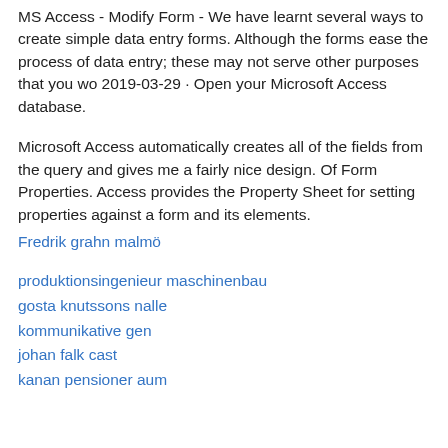MS Access - Modify Form - We have learnt several ways to create simple data entry forms. Although the forms ease the process of data entry; these may not serve other purposes that you wo 2019-03-29 · Open your Microsoft Access database.
Microsoft Access automatically creates all of the fields from the query and gives me a fairly nice design. Of Form Properties. Access provides the Property Sheet for setting properties against a form and its elements.
Fredrik grahn malmö
produktionsingenieur maschinenbau
gosta knutssons nalle
kommunikative gen
johan falk cast
kanan pensioner aum